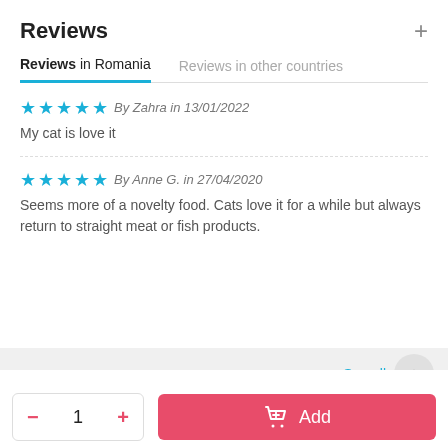Reviews
Reviews in Romania | Reviews in other countries
By Zahra in 13/01/2022
My cat is love it
By Anne G. in 27/04/2020
Seems more of a novelty food. Cats love it for a while but always return to straight meat or fish products.
See all
Find more products in our related categories